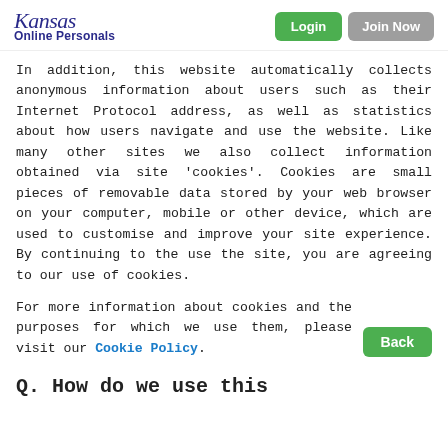Kansas Online Personals | Login | Join Now
In addition, this website automatically collects anonymous information about users such as their Internet Protocol address, as well as statistics about how users navigate and use the website. Like many other sites we also collect information obtained via site 'cookies'. Cookies are small pieces of removable data stored by your web browser on your computer, mobile or other device, which are used to customise and improve your site experience. By continuing to the use the site, you are agreeing to our use of cookies.
For more information about cookies and the purposes for which we use them, please visit our Cookie Policy.
Q. How do we use this